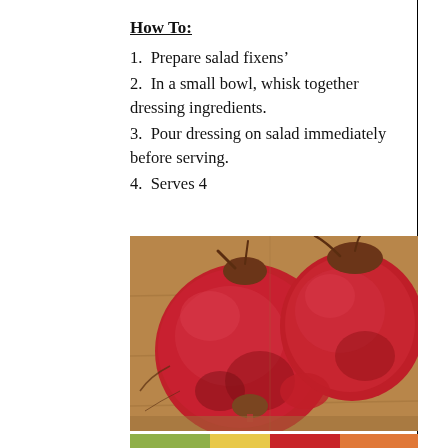How To:
1.  Prepare salad fixens’
2.  In a small bowl, whisk together dressing ingredients.
3.  Pour dressing on salad immediately before serving.
4.  Serves 4
[Figure (photo): Two large red beets on a wooden cutting board]
[Figure (photo): Partial view of colorful food items at bottom of page]